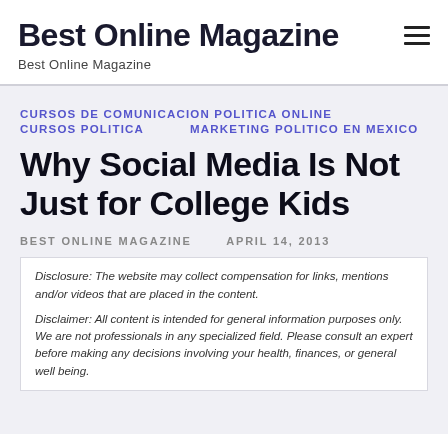Best Online Magazine
Best Online Magazine
CURSOS DE COMUNICACION POLITICA ONLINE
CURSOS POLITICA    MARKETING POLITICO EN MEXICO
Why Social Media Is Not Just for College Kids
BEST ONLINE MAGAZINE    APRIL 14, 2013
Disclosure: The website may collect compensation for links, mentions and/or videos that are placed in the content.

Disclaimer: All content is intended for general information purposes only. We are not professionals in any specialized field. Please consult an expert before making any decisions involving your health, finances, or general well being.